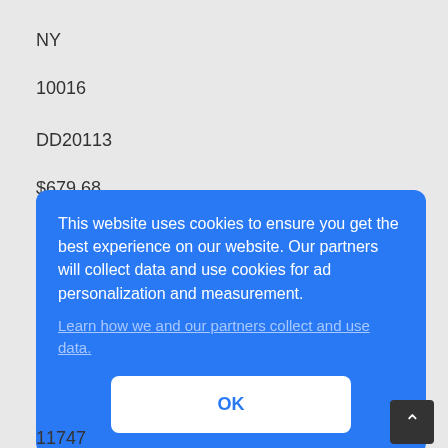NY
10016
DD20113
$679.68
This website uses cookies to ensure you get the best experience on our website. Our partners will collect data and use cookies for ad personalization and measurement.
Learn how we and our partners collect and use data.
OK
11747